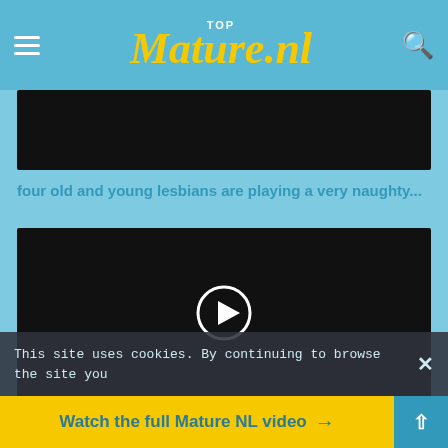TOP Mature.nl
[Figure (screenshot): Black video thumbnail placeholder at top]
four old and young lesbians are playing a very naughty...
[Figure (screenshot): Black video player with white play button circle in center]
This site uses cookies. By continuing to browse the site you
Watch the full Mature NL video →